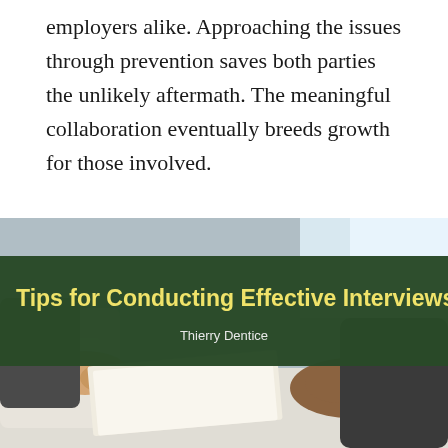employers alike. Approaching the issues through prevention saves both parties the unlikely aftermath. The meaningful collaboration eventually breeds growth for those involved.
[Figure (photo): Photo of two people at a desk in an interview setting, with one person handing documents to another whose hands are clasped. Overlaid with a dark green banner containing the title 'Tips for Conducting Effective Interviews' in yellow bold text and the author name 'Thierry Dentice' below it.]